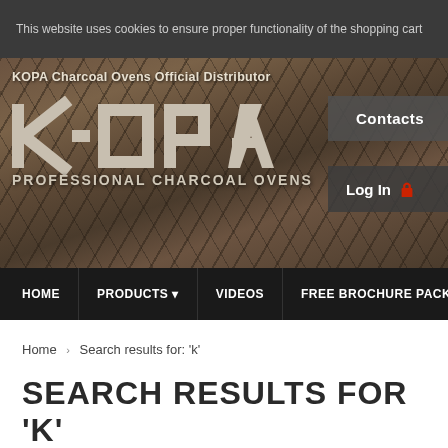This website uses cookies to ensure proper functionality of the shopping cart
[Figure (logo): KOPA Charcoal Ovens Official Distributor logo and hero banner with stone texture background. KOPA logo in large stylized letters, subtitle PROFESSIONAL CHARCOAL OVENS. Contacts and Log In buttons on right side.]
HOME | PRODUCTS | VIDEOS | FREE BROCHURE PACK | ABOUT US
Home > Search results for: 'k'
SEARCH RESULTS FOR 'K'